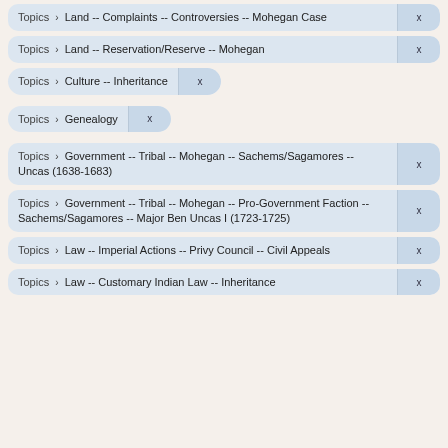Topics > Land -- Complaints -- Controversies -- Mohegan Case
Topics > Land -- Reservation/Reserve -- Mohegan
Topics > Culture -- Inheritance
Topics > Genealogy
Topics > Government -- Tribal -- Mohegan -- Sachems/Sagamores -- Uncas (1638-1683)
Topics > Government -- Tribal -- Mohegan -- Pro-Government Faction -- Sachems/Sagamores -- Major Ben Uncas I (1723-1725)
Topics > Law -- Imperial Actions -- Privy Council -- Civil Appeals
Topics > Law -- Customary Indian Law -- Inheritance